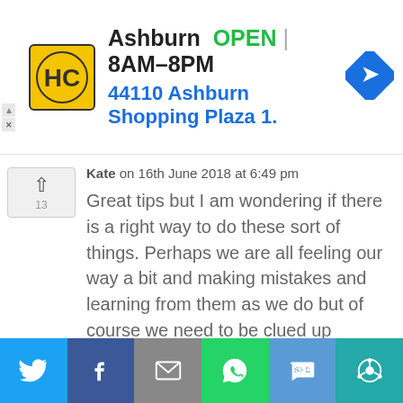[Figure (screenshot): Ad banner with HC logo, Ashburn OPEN 8AM-8PM, 44110 Ashburn Shopping Plaza 1., and a blue direction arrow icon]
Kate on 16th June 2018 at 6:49 pm
Great tips but I am wondering if there is a right way to do these sort of things. Perhaps we are all feeling our way a bit and making mistakes and learning from them as we do but of course we need to be clued up because of the dark forces out there on and offline. I like to hope that the
Privacy & Cookies: This site uses cookies. By continuing to use this website, you agree to their use.
To find out more, including how to control cookies, see here: Our Privacy Policy
[Figure (screenshot): Social share bar with Twitter, Facebook, Email, WhatsApp, SMS, and More buttons]